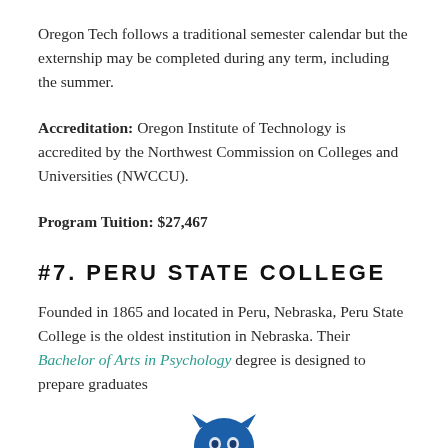Oregon Tech follows a traditional semester calendar but the externship may be completed during any term, including the summer.
Accreditation: Oregon Institute of Technology is accredited by the Northwest Commission on Colleges and Universities (NWCCU).
Program Tuition: $27,467
#7. PERU STATE COLLEGE
Founded in 1865 and located in Peru, Nebraska, Peru State College is the oldest institution in Nebraska. Their Bachelor of Arts in Psychology degree is designed to prepare graduates
[Figure (logo): Peru State College logo featuring a blue wildcat mascot and stylized text reading 'Peru State College' in blue and teal.]